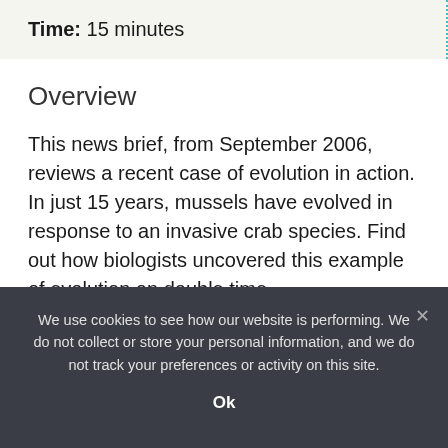Time: 15 minutes
Overview
This news brief, from September 2006, reviews a recent case of evolution in action. In just 15 years, mussels have evolved in response to an invasive crab species. Find out how biologists uncovered this example of evolution on double time.
We use cookies to see how our website is performing. We do not collect or store your personal information, and we do not track your preferences or activity on this site.
Ok